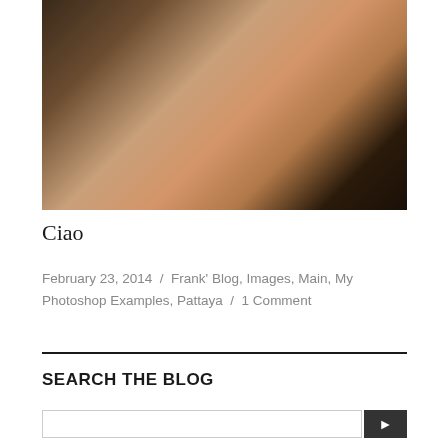[Figure (photo): Outdoor artistic photograph with a figure near water and dark branches against a sunset sky]
Ciao
February 23, 2014 / Frank' Blog, Images, Main, My Photoshop Examples, Pattaya / 1 Comment
SEARCH THE BLOG